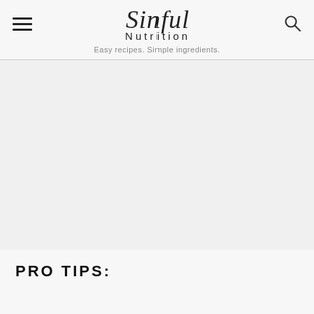Sinful Nutrition — Easy recipes. Simple ingredients.
[Figure (photo): Large food photograph placeholder area with light gray background]
PRO TIPS: